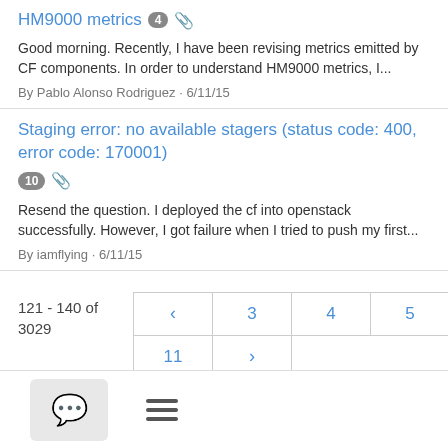HM9000 metrics 4 [attachment]
Good morning. Recently, I have been revising metrics emitted by CF components. In order to understand HM9000 metrics, I...
By Pablo Alonso Rodriguez · 6/11/15
Staging error: no available stagers (status code: 400, error code: 170001) 10 [attachment]
Resend the question. I deployed the cf into openstack successfully. However, I got failure when I tried to push my first...
By iamflying · 6/11/15
121 - 140 of 3029
[Figure (other): Pagination controls showing pages 3 4 5 6 7 8 9 10 11 with back arrow and forward arrow, current page 7 is bold]
[Figure (other): Footer bar with chat/speech bubble icon button and hamburger menu icon]